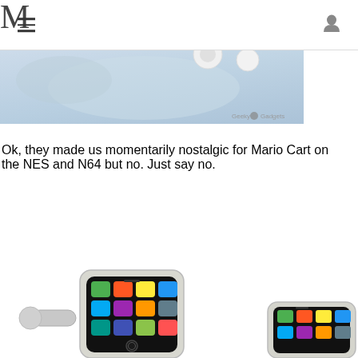M
[Figure (photo): Close-up photo of white earbuds/earphones on a light blue-grey background with a 'Geeky Gadgets' watermark in the bottom right]
Ok, they made us momentarily nostalgic for Mario Cart on the NES and N64 but no. Just say no.
[Figure (photo): Two iPhone-shaped cufflinks with silver bezels showing colorful app icons on a black screen, on a white background]